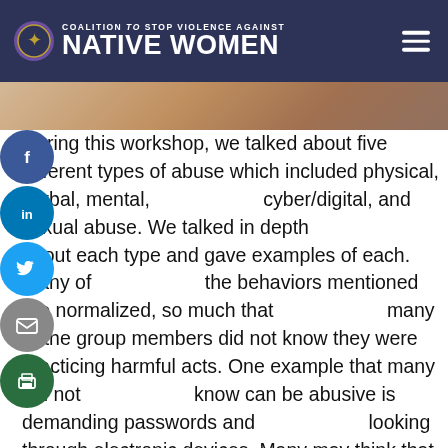Coalition to Stop Violence Against Native Women
[Figure (photo): Partial photo strip visible below the header]
During this workshop, we talked about five different types of abuse which included physical, verbal, mental, cyber/digital, and sexual abuse. We talked in depth about each type and gave examples of each. Many of the behaviors mentioned are normalized, so much that many of the group members did not know they were practicing harmful acts. One example that many did not know can be abusive is demanding passwords and looking through electronic devices. Many may think that this is a way to gain trust, however it can also be used to control and intimidate. These types of abuse can be correlated to our land as well.